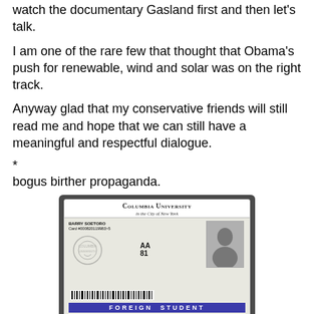watch the documentary Gasland first and then let's talk.
I am one of the rare few that thought that Obama's push for renewable, wind and solar was on the right track.
Anyway glad that my conservative friends will still read me and hope that we can still have a meaningful and respectful dialogue.
*
bogus birther propaganda.
[Figure (photo): A screenshot of a fake Columbia University student ID card for 'Barry Soetoro' labeled 'FOREIGN STUDENT']
One more from Jim M.